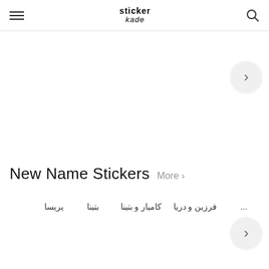sticker kade — navigation header with hamburger menu, logo, and search icon
[Figure (screenshot): Banner/carousel area with right-arrow navigation button]
New Name Stickers  More >
فرزین و دریا
کامیار و بتینا
بتینا
پریسا